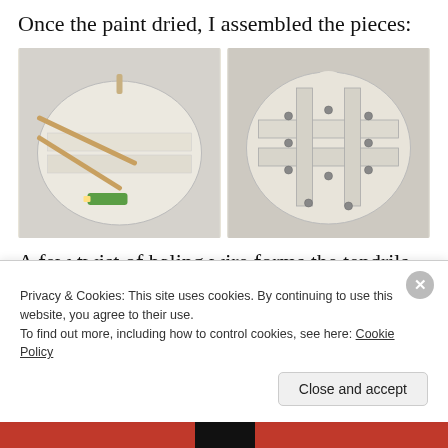Once the paint dried, I assembled the pieces:
[Figure (photo): Two photos side by side showing a white-painted wooden pumpkin shape. Left photo shows front with craft sticks and a small green item. Right photo shows back with metal brackets and screws holding the pieces together.]
A few twist of baling wire forms the tendrils.  I also added some silk leaves and some natural
Privacy & Cookies: This site uses cookies. By continuing to use this website, you agree to their use.
To find out more, including how to control cookies, see here: Cookie Policy
Close and accept